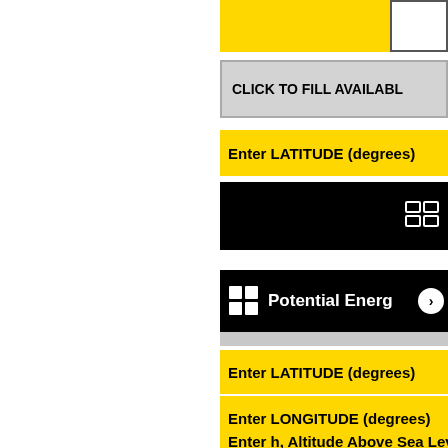[Figure (screenshot): Partial view of a scientific/engineering calculator application interface showing UI elements: yellow input bars for latitude, longitude, altitude; black toolbar bars with Windows logo and 'Potential Energy' label; gray 'CLICK TO FILL AVAILABLE' button; green output bar for 'Rest Mass PE']
CLICK TO FILL AVAILABLE
Enter LATITUDE (degrees)
Potential Energy
Enter LATITUDE (degrees)
Enter LONGITUDE (degrees)
Enter h, Altitude Above Sea Level
Rest Mass PE (in